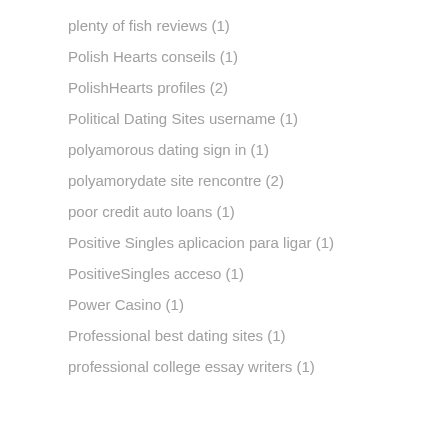plenty of fish reviews (1)
Polish Hearts conseils (1)
PolishHearts profiles (2)
Political Dating Sites username (1)
polyamorous dating sign in (1)
polyamorydate site rencontre (2)
poor credit auto loans (1)
Positive Singles aplicacion para ligar (1)
PositiveSingles acceso (1)
Power Casino (1)
Professional best dating sites (1)
professional college essay writers (1)